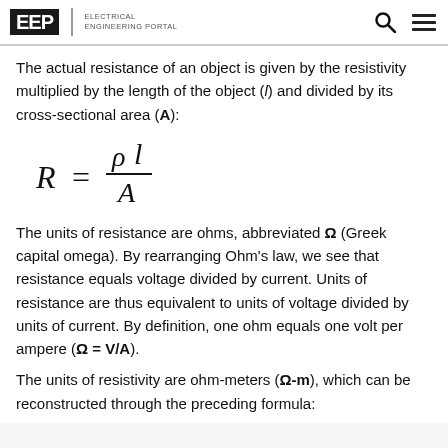EEP | ELECTRICAL ENGINEERING PORTAL
The actual resistance of an object is given by the resistivity multiplied by the length of the object (l) and divided by its cross-sectional area (A):
The units of resistance are ohms, abbreviated Ω (Greek capital omega). By rearranging Ohm's law, we see that resistance equals voltage divided by current. Units of resistance are thus equivalent to units of voltage divided by units of current. By definition, one ohm equals one volt per ampere (Ω = V/A).
The units of resistivity are ohm-meters (Ω-m), which can be reconstructed through the preceding formula: